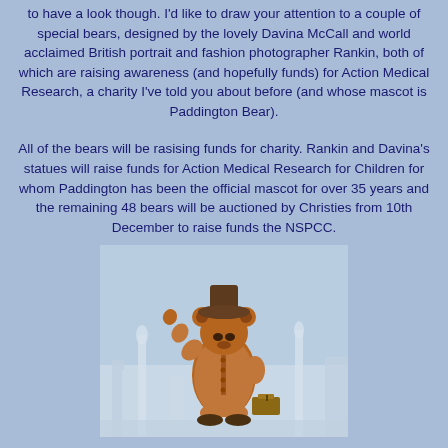to have a look though. I'd like to draw your attention to a couple of special bears, designed by the lovely Davina McCall and world acclaimed British portrait and fashion photographer Rankin, both of which are raising awareness (and hopefully funds) for Action Medical Research, a charity I've told you about before (and whose mascot is Paddington Bear).
All of the bears will be rasising funds for charity. Rankin and Davina's statues will raise funds for Action Medical Research for Children for whom Paddington has been the official mascot for over 35 years and the remaining 48 bears will be auctioned by Christies from 10th December to raise funds the NSPCC.
[Figure (photo): A wooden or bronze-colored Paddington Bear statue, standing upright, wearing a hat and holding a suitcase, with one arm raised in a wave. Background shows a light blue cityscape silhouette.]